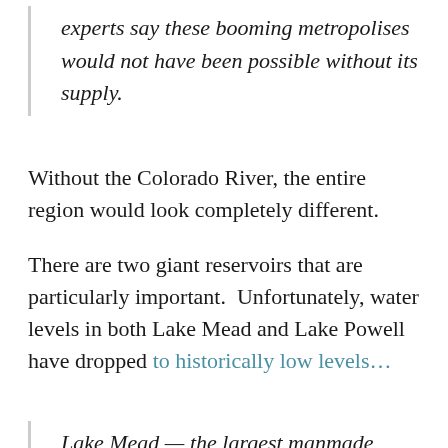experts say these booming metropolises would not have been possible without its supply.
Without the Colorado River, the entire region would look completely different.
There are two giant reservoirs that are particularly important.  Unfortunately, water levels in both Lake Mead and Lake Powell have dropped to historically low levels…
Lake Mead — the largest manmade reservoir in the US, which is fed by the Colorado River — recently sunk to its